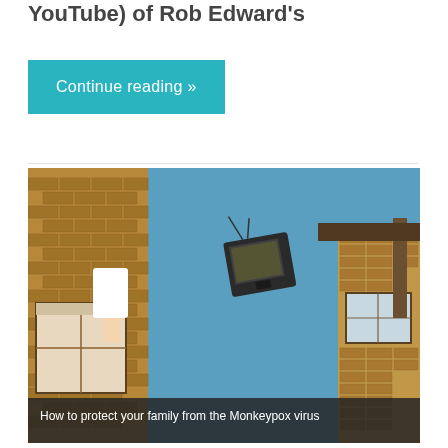YouTube) of Rob Edward’s
Continue reading »
[Figure (photo): A person throwing a CRT television set out of a window of a brick building, with a blue sky in the background. The TV is mid-air.]
How to protect your family from the Monkeypox virus